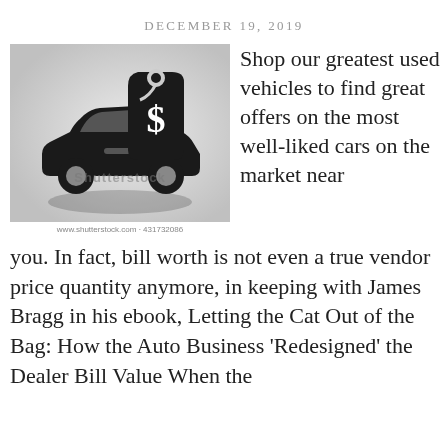DECEMBER 19, 2019
[Figure (illustration): Shutterstock stock illustration of a car silhouette with a price tag bearing a dollar sign, on a light grey gradient background. Watermark reads 'Shutterstock'. Caption: www.shutterstock.com · 431732086]
Shop our greatest used vehicles to find great offers on the most well-liked cars on the market near you. In fact, bill worth is not even a true vendor price quantity anymore, in keeping with James Bragg in his ebook, Letting the Cat Out of the Bag: How the Auto Business 'Redesigned' the Dealer Bill Value When the